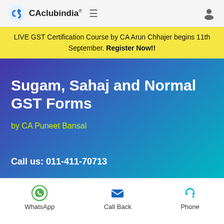CAclubindia®
LIVE GST Certification Course by CA Arun Chhajer begins 11th September. Register Now!!
Sugam, Sahaj and Normal GST Forms
by CA Puneet Bansal
Call us: 011-411-70713
WhatsApp   Call Back   Phone